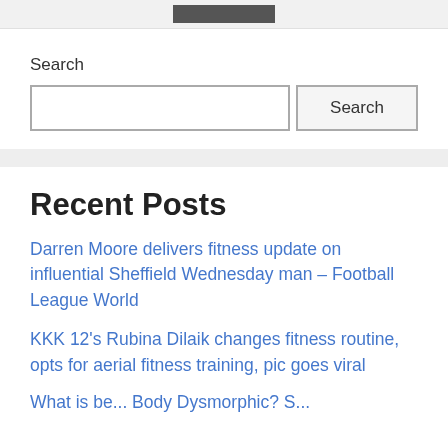[logo/header image]
Search
Search (input box and button)
Recent Posts
Darren Moore delivers fitness update on influential Sheffield Wednesday man – Football League World
KKK 12's Rubina Dilaik changes fitness routine, opts for aerial fitness training, pic goes viral
What is be... Body Dysmorphic? S...